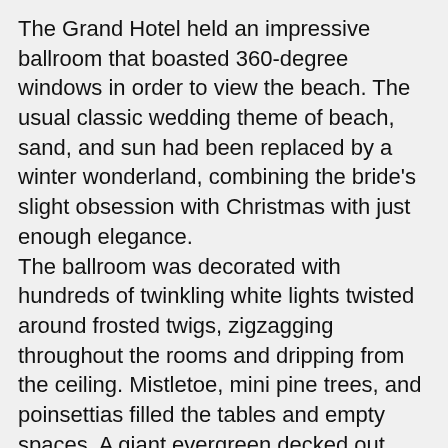The Grand Hotel held an impressive ballroom that boasted 360-degree windows in order to view the beach. The usual classic wedding theme of beach, sand, and sun had been replaced by a winter wonderland, combining the bride's slight obsession with Christmas with just enough elegance.
The ballroom was decorated with hundreds of twinkling white lights twisted around frosted twigs, zigzagging throughout the rooms and dripping from the ceiling. Mistletoe, mini pine trees, and poinsettias filled the tables and empty spaces. A giant evergreen decked out with decorations and tinsel was the main draw, and huge boxes of gaily wrapped presents were crowded underneath. Fake snow floated down and burst over the dance floor in timed intervals. Bella had to admit, it was one of her masterpieces, completely transporting guests back to the magic of the holidays.
As she checked in with the staff to make sure everything was running smoothly, she watched the groom lead the bride into